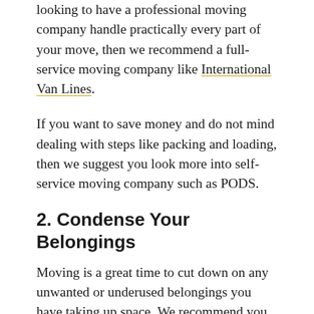looking to have a professional moving company handle practically every part of your move, then we recommend a full-service moving company like International Van Lines.
If you want to save money and do not mind dealing with steps like packing and loading, then we suggest you look more into self-service moving company such as PODS.
2. Condense Your Belongings
Moving is a great time to cut down on any unwanted or underused belongings you have taking up space. We recommend you make two piles as you prepare for moving day. One of your piles should be dedicated to items you can donate